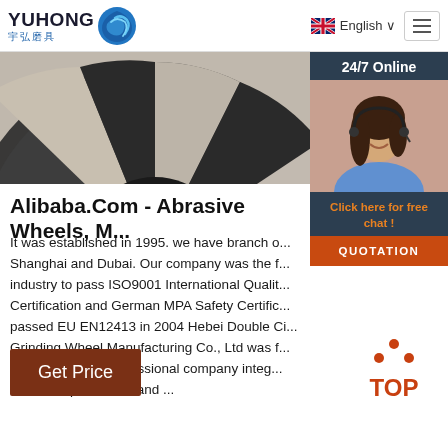[Figure (logo): Yuhong (宇弘磨具) logo with blue wave/swoosh icon and bold text]
English ∨
[Figure (photo): Abrasive grinding wheel product image, partial circular view from above]
[Figure (photo): 24/7 Online chat widget with photo of woman with headset, Click here for free chat!, and QUOTATION button]
Alibaba.Com - Abrasive Wheels, M...
It was established in 1995. we have branch office in Shanghai and Dubai. Our company was the first in industry to pass ISO9001 International Quality Certification and German MPA Safety Certification, passed EU EN12413 in 2004 Hebei Double Circle Grinding Wheel Manufacturing Co., Ltd was founded in 1995,which is a professional company integrating research, production and ...
Get Price
[Figure (other): TOP navigation icon with orange dots forming triangle and red/orange text 'TOP']